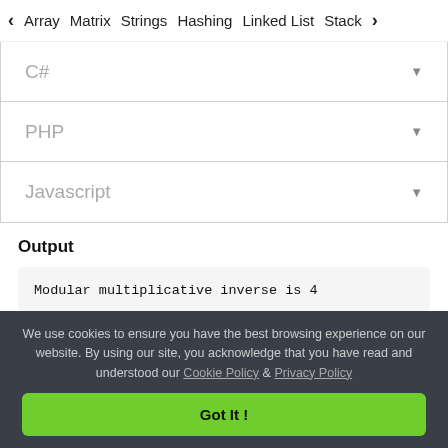< Array   Matrix   Strings   Hashing   Linked List   Stack >
C#
PHP
Javascript
Output
Modular multiplicative inverse is 4
Time Complexity: O(log m)
We use cookies to ensure you have the best browsing experience on our website. By using our site, you acknowledge that you have read and understood our Cookie Policy & Privacy Policy
Got It !